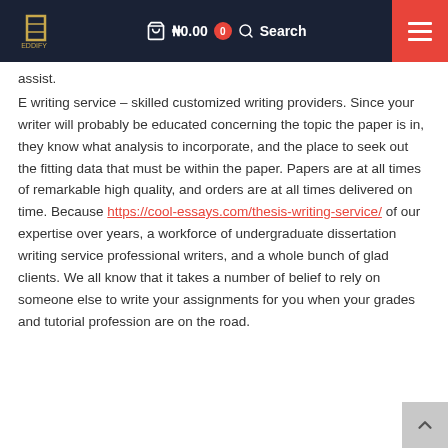₦0.00  0  Search
assist.
E writing service – skilled customized writing providers. Since your writer will probably be educated concerning the topic the paper is in, they know what analysis to incorporate, and the place to seek out the fitting data that must be within the paper. Papers are at all times of remarkable high quality, and orders are at all times delivered on time. Because https://cool-essays.com/thesis-writing-service/ of our expertise over years, a workforce of undergraduate dissertation writing service professional writers, and a whole bunch of glad clients. We all know that it takes a number of belief to rely on someone else to write your assignments for you when your grades and tutorial profession are on the road.